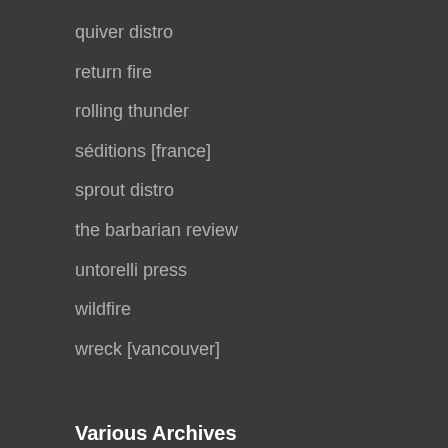quiver distro
return fire
rolling thunder
séditions [france]
sprout distro
the barbarian review
untorelli press
wildfire
wreck [vancouver]
Various Archives
'til it breaks [usa]
277 street fights